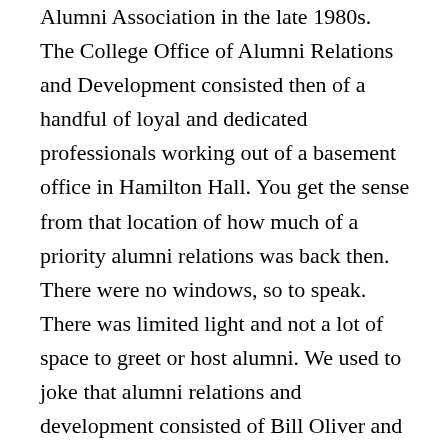Alumni Association in the late 1980s. The College Office of Alumni Relations and Development consisted then of a handful of loyal and dedicated professionals working out of a basement office in Hamilton Hall. You get the sense from that location of how much of a priority alumni relations was back then. There were no windows, so to speak.  There was limited light and not a lot of space to greet or host alumni. We used to joke that alumni relations and development consisted of Bill Oliver and Bruno Santonocito's rolodex, and they'd better not lose that rolodex. By the way, some of you are too young to know what a "rolodex" is. College Alumni Association Board meetings wandered from meeting room to meeting room in various midtown Manhattan hotels or if we were lucky, to the board rooms at Emigrant Savings Bank, owned by our very own former Trustee Phil Milstein, or Dime Savings Bank where a former CCAA President worked as a senior credit officer. Reunions were intimate gatherings, which